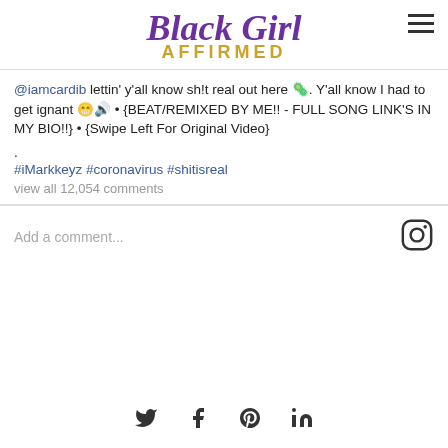[Figure (logo): Black Girl Affirmed logo — 'Black Girl' in purple italic script, 'AFFIRMED' in gold bold caps with letter-spacing]
@iamcardib lettin' y'all know sh!t real out here 🦠. Y'all know I had to get ignant 😁🔊 • {BEAT/REMIXED BY ME!! - FULL SONG LINK'S IN MY BIO!!} • {Swipe Left For Original Video}
.
#iMarkkeyz #coronavirus #shitisreal
view all 12,054 comments
Add a comment...
[Figure (logo): Instagram icon (rounded square with camera outline)]